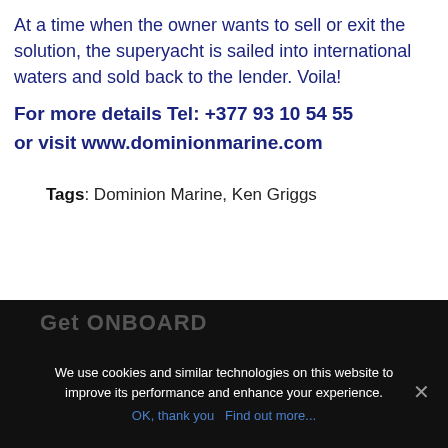At a time when the owner wants to sell or exit the solution, the superyacht is sailed into international waters and sold back to the lender. Voila!
For more details Tel: +377 93 10 54 55
or visit www.dominionmarine.com
Tags: Dominion Marine, Ken Griggs
Get ONBOARD
We use cookies and similar technologies on this website to improve its performance and enhance your experience.
OK, thank you  Find out more...